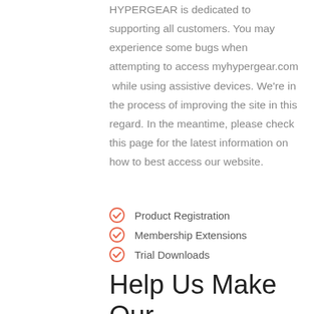HYPERGEAR is dedicated to supporting all customers. You may experience some bugs when attempting to access myhypergear.com  while using assistive devices. We're in the process of improving the site in this regard. In the meantime, please check this page for the latest information on how to best access our website.
Product Registration
Membership Extensions
Trial Downloads
Help Us Make Our Site Accessible